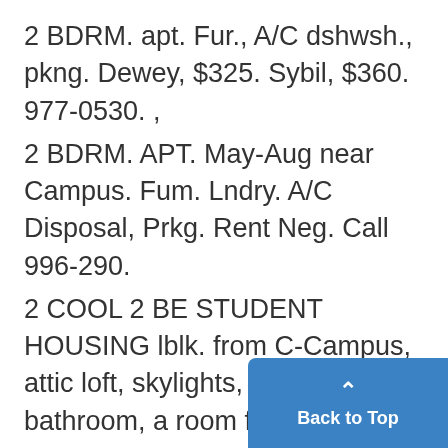2 BDRM. apt. Fur., A/C dshwsh., pkng. Dewey, $325. Sybil, $360. 977-0530. ,
2 BDRM. APT. May-Aug near Campus. Fum. Lndry. A/C Disposal, Prkg. Rent Neg. Call 996-290.
2 COOL 2 BE STUDENT HOUSING lblk. from C-Campus, attic loft, skylights, own bathroom, a room for 2- kingdom or 1. Must see! May-Aug. 662-8662 neg.
2 HSEMATES NEEDED. Sgl. mis. Sept.- Sept. lse. Livingrm. dininrm., 3 baths, near Stadium. Low rent. tall 74-7944
3 BDRM. HOUSE- Carpet, fum k great loc. May-Aug. $150 neg.74